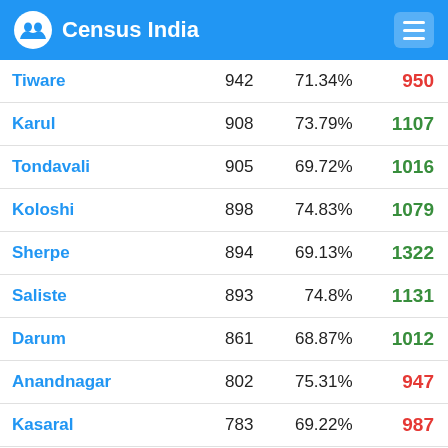Census India
| Name | Population | Literacy | Sex Ratio |
| --- | --- | --- | --- |
| Tiware | 942 | 71.34% | 950 |
| Karul | 908 | 73.79% | 1107 |
| Tondavali | 905 | 69.72% | 1016 |
| Koloshi | 898 | 74.83% | 1079 |
| Sherpe | 894 | 69.13% | 1322 |
| Saliste | 893 | 74.8% | 1131 |
| Darum | 861 | 68.87% | 1012 |
| Anandnagar | 802 | 75.31% | 947 |
| Kasaral | 783 | 69.22% | 987 |
| Pise Kamate | 751 | 74.03% | 1104 |
| Pimpaleshwar Nagar | 731 | 77.29% | 1163 |